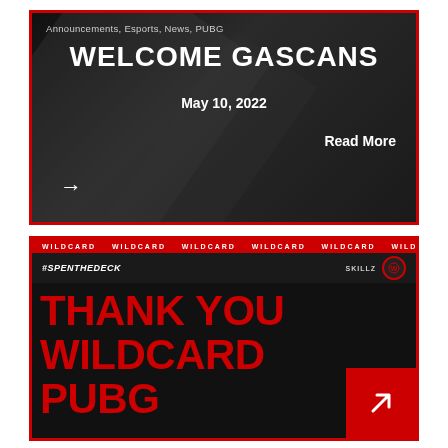[Figure (screenshot): Dark-themed esports news card with red border showing 'WELCOME GASCANS' title, date May 10 2022, Read More link, and navigation arrow on dark background with diagonal stripe accents]
[Figure (screenshot): Dark-themed esports social media card with red border, red ticker banner, #SPENTHEDECK hashtag, Wildcard logos, and large red text 'THANK YOU WILDCARD PUBG' with red arrow box]